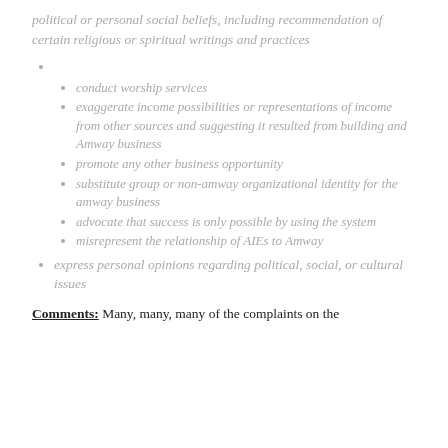political or personal social beliefs, including recommendation of certain religious or spiritual writings and practices
(empty bullet)
conduct worship services
exaggerate income possibilities or representations of income from other sources and suggesting it resulted from building and Amway business
promote any other business opportunity
substitute group or non-amway organizational identity for the amway business
advocate that success is only possible by using the system
misrepresent the relationship of AIEs to Amway
express personal opinions regarding political, social, or cultural issues
Comments: Many, many, many of the complaints on the